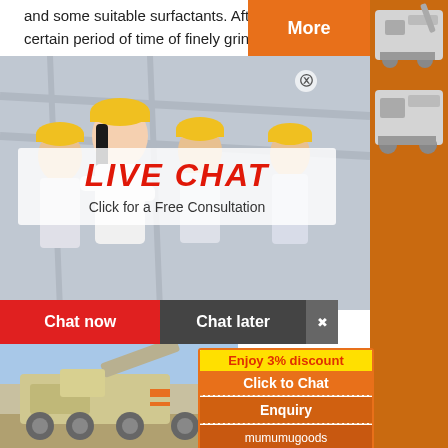and some suitable surfactants. After certain period of time of finely grinding and highly dispersing in different solvent systems, they are made into pigment dispersions. If the solvent is water, it is water-based pigment dispersion.
[Figure (screenshot): Live chat overlay popup with workers in hard hats, LIVE CHAT heading, 'Click for a Free Consultation' text, Chat now and Chat later buttons]
[Figure (photo): Heavy construction/mining machinery on a truck]
[Figure (infographic): Enjoy 3% discount / Click to Chat / Enquiry / mumumugoods@gmail.com popup panel on orange background with machinery images]